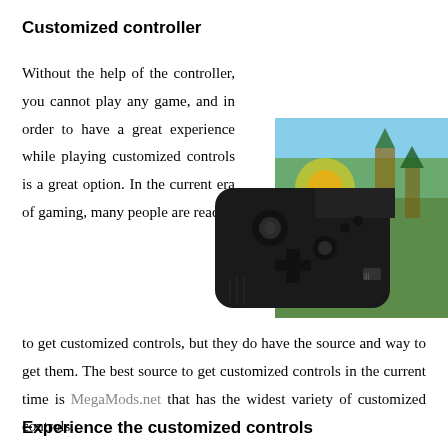Customized controller
Without the help of the controller, you cannot play any game, and in order to have a great experience while playing customized controls is a great option. In the current era of gaming, many people are ready to get customized controls, but they do have the source and way to get them. The best source to get customized controls in the current time is MegaMods.net that has the widest variety of customized controls.
[Figure (photo): A black mobile gaming controller attached to a smartphone displaying a colorful game scene.]
Experience the customized controls